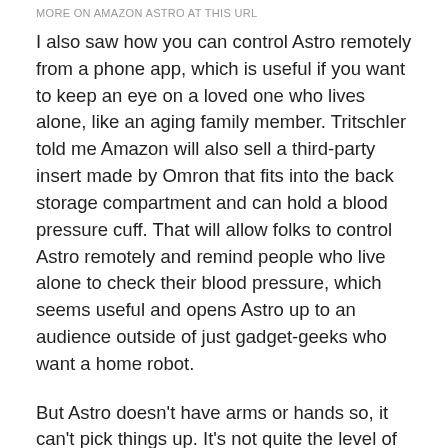MORE ON AMAZON ASTRO AT THIS URL
I also saw how you can control Astro remotely from a phone app, which is useful if you want to keep an eye on a loved one who lives alone, like an aging family member. Tritschler told me Amazon will also sell a third-party insert made by Omron that fits into the back storage compartment and can hold a blood pressure cuff. That will allow folks to control Astro remotely and remind people who live alone to check their blood pressure, which seems useful and opens Astro up to an audience outside of just gadget-geeks who want a home robot.
But Astro doesn't have arms or hands so, it can't pick things up. It's not quite the level of Rosie from “The Jetsons” TV show. (Speaking of that show, Astro is not named after the Jetsons’ dog. Early testers just preferred that name over others.) It also can't go up or down stairs...